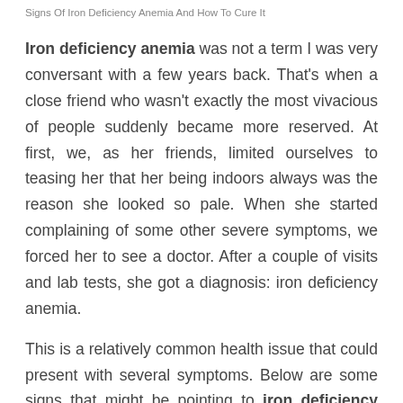Signs Of Iron Deficiency Anemia And How To Cure It
Iron deficiency anemia was not a term I was very conversant with a few years back. That's when a close friend who wasn't exactly the most vivacious of people suddenly became more reserved. At first, we, as her friends, limited ourselves to teasing her that her being indoors always was the reason she looked so pale. When she started complaining of some other severe symptoms, we forced her to see a doctor. After a couple of visits and lab tests, she got a diagnosis: iron deficiency anemia.
This is a relatively common health issue that could present with several symptoms. Below are some signs that might be pointing to iron deficiency anemia and what you can do about it.